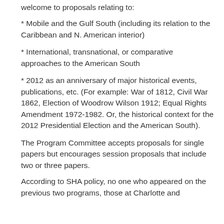welcome to proposals relating to:
* Mobile and the Gulf South (including its relation to the Caribbean and N. American interior)
* International, transnational, or comparative approaches to the American South
* 2012 as an anniversary of major historical events, publications, etc. (For example: War of 1812, Civil War 1862, Election of Woodrow Wilson 1912; Equal Rights Amendment 1972-1982. Or, the historical context for the 2012 Presidential Election and the American South).
The Program Committee accepts proposals for single papers but encourages session proposals that include two or three papers.
According to SHA policy, no one who appeared on the previous two programs, those at Charlotte and